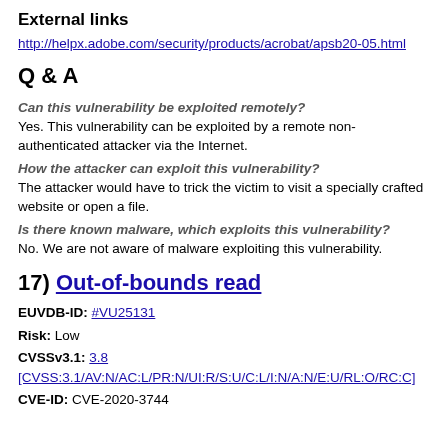External links
http://helpx.adobe.com/security/products/acrobat/apsb20-05.html
Q & A
Can this vulnerability be exploited remotely?
Yes. This vulnerability can be exploited by a remote non-authenticated attacker via the Internet.
How the attacker can exploit this vulnerability?
The attacker would have to trick the victim to visit a specially crafted website or open a file.
Is there known malware, which exploits this vulnerability?
No. We are not aware of malware exploiting this vulnerability.
17) Out-of-bounds read
EUVDB-ID: #VU25131
Risk: Low
CVSSv3.1: 3.8 [CVSS:3.1/AV:N/AC:L/PR:N/UI:R/S:U/C:L/I:N/A:N/E:U/RL:O/RC:C]
CVE-ID: CVE-2020-3744